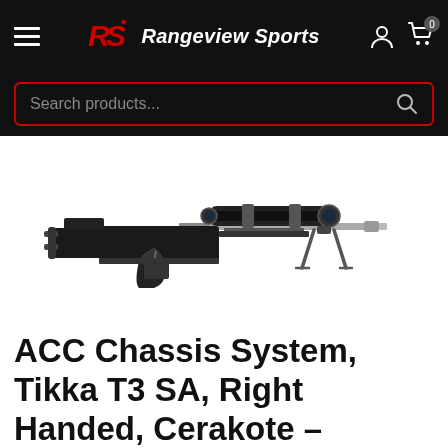Rangeview Sports
Search products...
[Figure (photo): A precision rifle (ACC Chassis System on a Tikka T3 SA) with scope and bipod, shown in profile on white background.]
ACC Chassis System, Tikka T3 SA, Right Handed, Cerakote – Black*Cannot ship outside Canada*